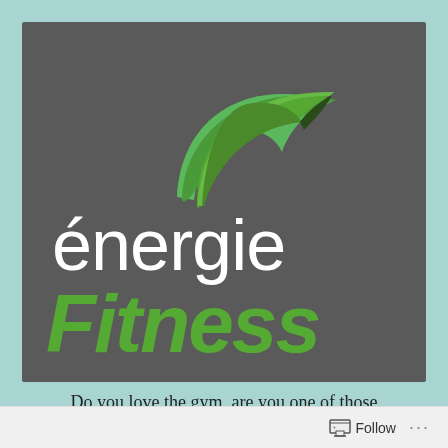[Figure (logo): énergie Fitness logo on dark grey background with a green swoosh/boomerang shape above the text. 'énergie' in white lowercase and 'Fitness' in green lowercase italic.]
Do you love the gym, are you one of those
Follow ...